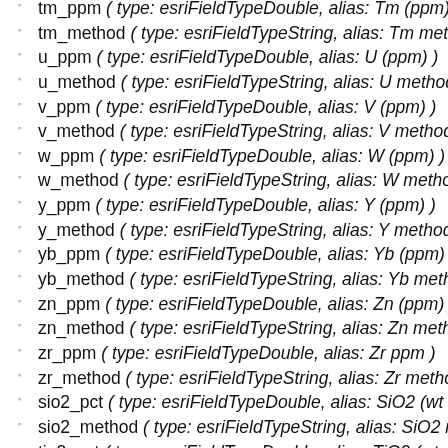tm_ppm ( type: esriFieldTypeDouble, alias: Tm (ppm) )
tm_method ( type: esriFieldTypeString, alias: Tm meth...
u_ppm ( type: esriFieldTypeDouble, alias: U (ppm) )
u_method ( type: esriFieldTypeString, alias: U method, ...
v_ppm ( type: esriFieldTypeDouble, alias: V (ppm) )
v_method ( type: esriFieldTypeString, alias: V method, ...
w_ppm ( type: esriFieldTypeDouble, alias: W (ppm) )
w_method ( type: esriFieldTypeString, alias: W method...
y_ppm ( type: esriFieldTypeDouble, alias: Y (ppm) )
y_method ( type: esriFieldTypeString, alias: Y method, ...
yb_ppm ( type: esriFieldTypeDouble, alias: Yb (ppm) )
yb_method ( type: esriFieldTypeString, alias: Yb method...
zn_ppm ( type: esriFieldTypeDouble, alias: Zn (ppm) )
zn_method ( type: esriFieldTypeString, alias: Zn method...
zr_ppm ( type: esriFieldTypeDouble, alias: Zr ppm )
zr_method ( type: esriFieldTypeString, alias: Zr method...
sio2_pct ( type: esriFieldTypeDouble, alias: SiO2 (wt p...
sio2_method ( type: esriFieldTypeString, alias: SiO2 m...
tio2_pct ( type: esriFieldTypeDouble, alias: TiO2 (wt pc...
tio2_method ( type: esriFieldTypeString, alias: TiO2 me...
al2o3_pct ( type: esriFieldTypeDouble, alias: Al2O3 (w...
al2o3_method ( type: esriFieldTypeString, alias: Al2O3 ...
fe2o3_pct ( type: esriFieldTypeDouble, alias: Fe2O3 (v...
fe2o3_method ( type: esriFieldTypeString, alias: FeO...